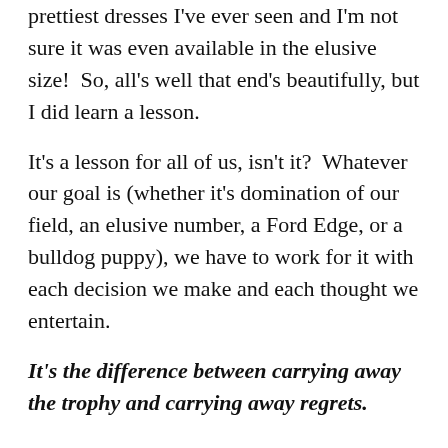prettiest dresses I've ever seen and I'm not sure it was even available in the elusive size!  So, all's well that end's beautifully, but I did learn a lesson.
It's a lesson for all of us, isn't it?  Whatever our goal is (whether it's domination of our field, an elusive number, a Ford Edge, or a bulldog puppy), we have to work for it with each decision we make and each thought we entertain.
It's the difference between carrying away the trophy and carrying away regrets.
Bernhard Langer Quotes: